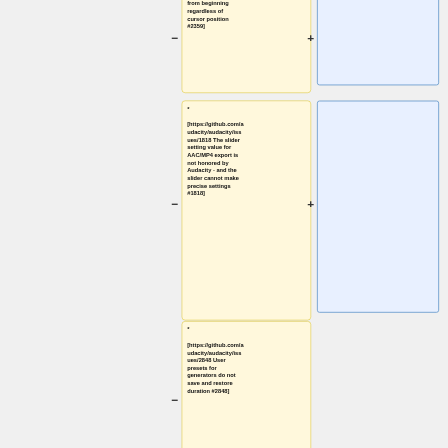* [https://github.com/audacity/audacity/issues/2359 playback starts from beginning regardless of cursor position #2359]
* [https://github.com/audacity/audacity/issues/1818 The slider setting value for AAC/MP4 export is not honored by Audacity - and the slider cannot make precise settings #1818]
* [https://github.com/audacity/audacity/issues/2848 User presets for generators do not save and restore duration #2848]